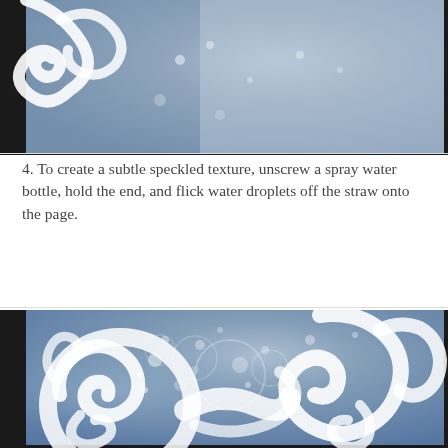[Figure (photo): Top portion of a blue-toned art page showing white decorative swirl/dragon motifs on a mottled blue background, partially visible at the top of the page.]
4. To create a subtle speckled texture, unscrew a spray water bottle, hold the end, and flick water droplets off the straw onto the page.
[Figure (photo): A blue-toned art page with white decorative swirl/dragon motifs and a speckled texture created by flicking water droplets onto the page. The swirling white patterns are visible on a mottled blue-grey background.]